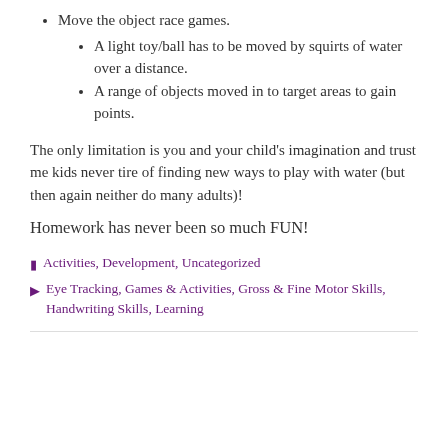Move the object race games.
A light toy/ball has to be moved by squirts of water over a distance.
A range of objects moved in to target areas to gain points.
The only limitation is you and your child’s imagination and trust me kids never tire of finding new ways to play with water (but then again neither do many adults)!
Homework has never been so much FUN!
Activities, Development, Uncategorized
Eye Tracking, Games & Activities, Gross & Fine Motor Skills, Handwriting Skills, Learning